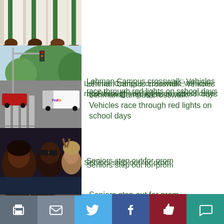[Figure (photo): People in graduation gowns with green sashes (top, partial view)]
[Figure (photo): Street crosswalk scene with FedEx truck and traffic lights]
Lehman Campus crosswalk: Vehicles race through red lights on school days
[Figure (photo): Group of young people smiling at camera, prom photo]
Seniors step out for prom
[Figure (photo): Art exhibit scene with woman holding candle near decorated wall]
Art students tour NYC exhibit
Print | Email | Twitter | Facebook | Like | Comment